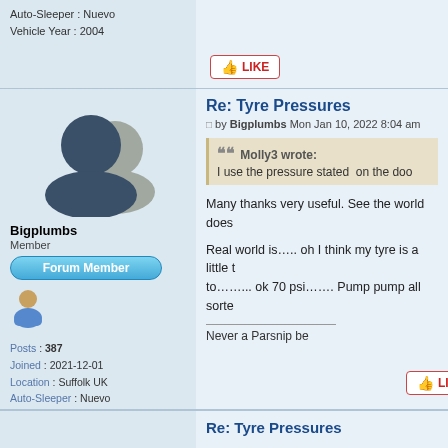Auto-Sleeper : Nuevo
Vehicle Year : 2004
Re: Tyre Pressures
by Bigplumbs Mon Jan 10, 2022 8:04 am
Molly3 wrote:
I use the pressure stated on the doo
Many thanks very useful. See the world does
Real world is….. oh I think my tyre is a little to……... ok 70 psi……. Pump pump all sorte
Never a Parsnip be
Bigplumbs
Member
Posts : 387
Joined : 2021-12-01
Location : Suffolk UK
Auto-Sleeper : Nuevo
Vehicle Year : 2004
Re: Tyre Pressures